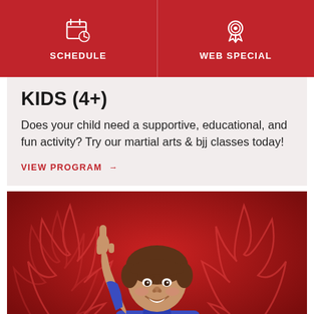SCHEDULE | WEB SPECIAL
KIDS (4+)
Does your child need a supportive, educational, and fun activity? Try our martial arts & bjj classes today!
VIEW PROGRAM →
[Figure (photo): A smiling boy in a blue judo/BJJ gi holding up one finger (index finger pointing up), photographed against a red background with stylized flame/wing design]